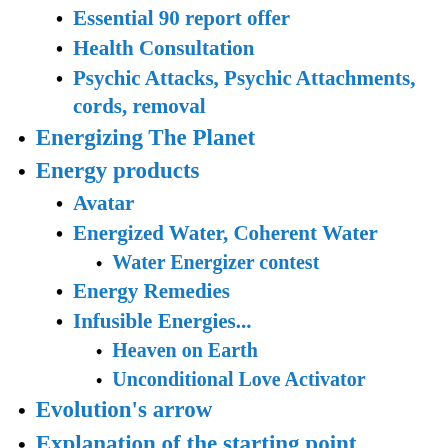Essential 90 report offer
Health Consultation
Psychic Attacks, Psychic Attachments, cords, removal
Energizing The Planet
Energy products
Avatar
Energized Water, Coherent Water
Water Energizer contest
Energy Remedies
Infusible Energies...
Heaven on Earth
Unconditional Love Activator
Evolution's arrow
Explanation of the starting point measurements... from the Trump article